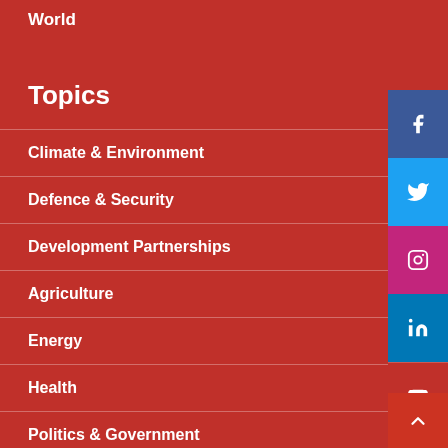World
Topics
Climate & Environment
Defence & Security
Development Partnerships
Agriculture
Energy
Health
Politics & Government
Science & Technology
Society